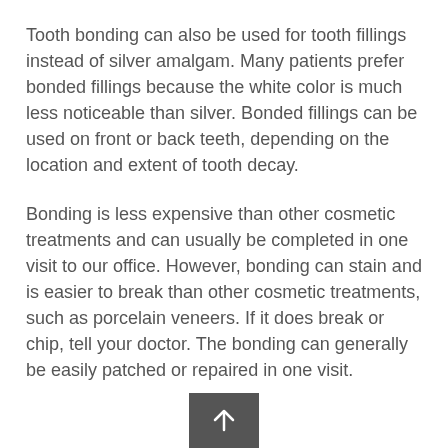Tooth bonding can also be used for tooth fillings instead of silver amalgam. Many patients prefer bonded fillings because the white color is much less noticeable than silver. Bonded fillings can be used on front or back teeth, depending on the location and extent of tooth decay.
Bonding is less expensive than other cosmetic treatments and can usually be completed in one visit to our office. However, bonding can stain and is easier to break than other cosmetic treatments, such as porcelain veneers. If it does break or chip, tell your doctor. The bonding can generally be easily patched or repaired in one visit.
[Figure (other): A dark grey square button with an upward-pointing arrow icon, positioned at the bottom center of the page.]